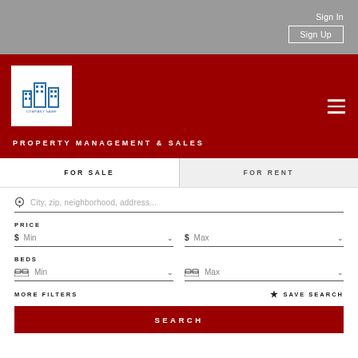Sign In | Sign Up
[Figure (logo): Property management company logo with stylized building icon above text]
PROPERTY MANAGEMENT & SALES
FOR SALE
FOR RENT
City, zip, neighborhood, address...
PRICE
$ Min
$ Max
BEDS
Min
Max
MORE FILTERS
★ SAVE SEARCH
SEARCH